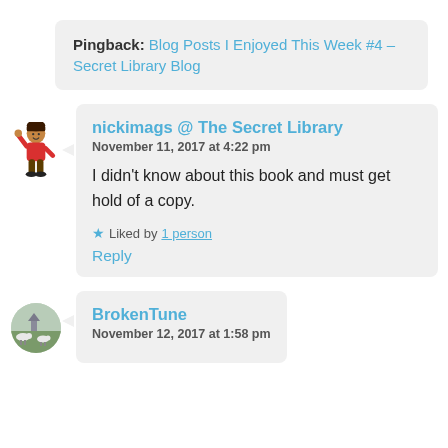Pingback: Blog Posts I Enjoyed This Week #4 – Secret Library Blog
nickimags @ The Secret Library
November 11, 2017 at 4:22 pm

I didn't know about this book and must get hold of a copy.

★ Liked by 1 person

Reply
BrokenTune
November 12, 2017 at 1:58 pm